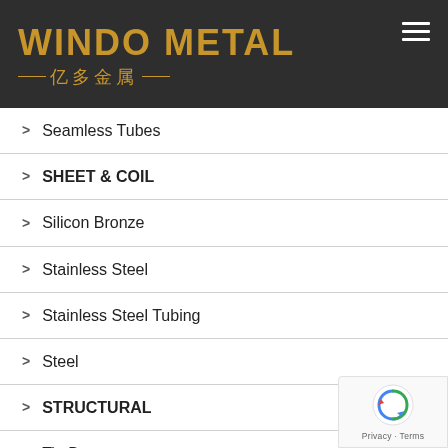[Figure (logo): Windo Metal logo with gold text and Chinese characters 亿多金属 on dark background]
Seamless Tubes
SHEET & COIL
Silicon Bronze
Stainless Steel
Stainless Steel Tubing
Steel
STRUCTURAL
Tin Bronze